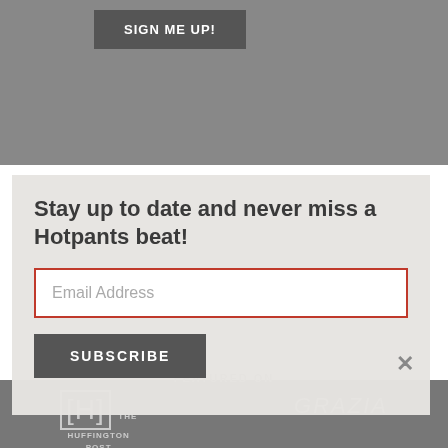[Figure (screenshot): Top grey section with SIGN ME UP! button]
[Figure (screenshot): Background section featuring publication logos: FEATURED ON, The Huffington Post, GRAZIA, VOGUE, YAHOO!, ELLE, marie claire]
Stay up to date and never miss a Hotpants beat!
Email Address
SUBSCRIBE
×